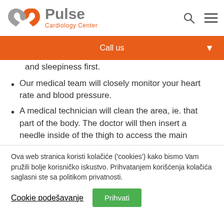Pulse Cardiology Center
Call us
and sleepiness first.
Our medical team will closely monitor your heart rate and blood pressure.
A medical technician will clean the area, ie. that part of the body. The doctor will then insert a needle inside of the thigh to access the main
Ova web stranica koristi kolačiće ('cookies') kako bismo Vam pružili bolje korisničko iskustvo. Prihvatanjem korišćenja kolačića saglasni ste sa politikom privatnosti.
Cookie podešavanje  Prihvati